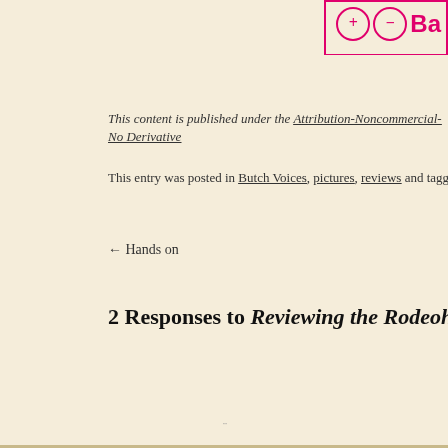[Figure (screenshot): Top portion of a product image with a pink border showing buttons and text partially visible]
This content is published under the Attribution-Noncommercial-No Derivative
This entry was posted in Butch Voices, pictures, reviews and tagged Babeland, pictu
← Hands on
2 Responses to Reviewing the Rodeoh harness fr
[Figure (logo): StatCounter.com logo badge with blue and white styling]
© 2022 - Butchtastic